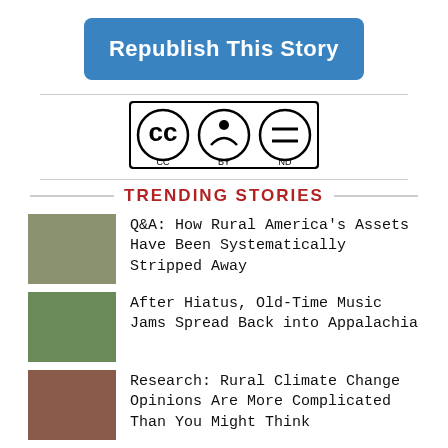Republish This Story
[Figure (logo): Creative Commons CC BY ND license badge]
TRENDING STORIES
[Figure (photo): Thumbnail photo of a person outdoors wearing a cap]
Q&A: How Rural America's Assets Have Been Systematically Stripped Away
[Figure (photo): Thumbnail photo of an outdoor gathering or festival]
After Hiatus, Old-Time Music Jams Spread Back into Appalachia
[Figure (photo): Thumbnail photo of trees or forest scene]
Research: Rural Climate Change Opinions Are More Complicated Than You Might Think
[Figure (photo): Thumbnail photo of people in a forest or outdoor activity]
45 Degrees North: When Someone Is Missing